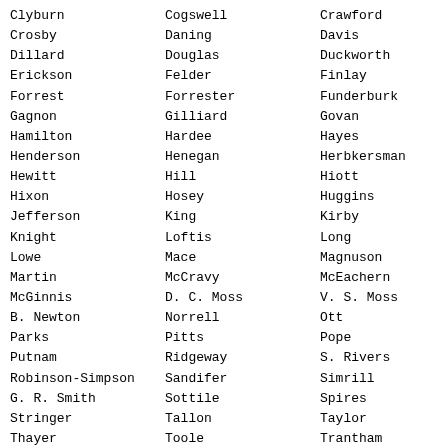Clyburn, Cogswell, Crawford, Crosby, Daning, Davis, Dillard, Douglas, Duckworth, Erickson, Felder, Finlay, Forrest, Forrester, Funderburk, Gagnon, Gilliard, Govan, Hamilton, Hardee, Hayes, Henderson, Henegan, Herbkersman, Hewitt, Hill, Hiott, Hixon, Hosey, Huggins, Jefferson, King, Kirby, Knight, Loftis, Long, Lowe, Mace, Magnuson, Martin, McCravy, McEachern, McGinnis, D. C. Moss, V. S. Moss, B. Newton, Norrell, Ott, Parks, Pitts, Pope, Putnam, Ridgeway, S. Rivers, Robinson-Simpson, Sandifer, Simrill, G. R. Smith, Sottile, Spires, Stringer, Tallon, Taylor, Thayer, Toole, Trantham, West, White, Whitmire, Williams, Willis, Young, Yow
Total--91
Those who voted in the negative are: